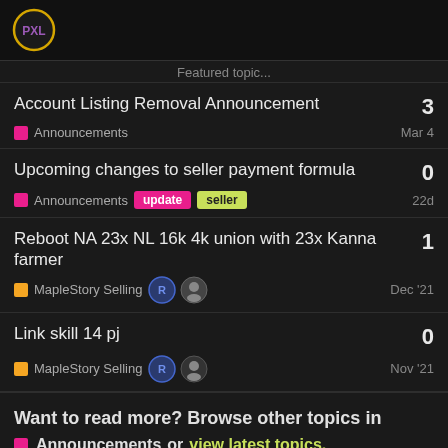[Figure (logo): PXL circular logo with gold ring on dark background]
Account Listing Removal Announcement
Announcements · 3 · Mar 4
Upcoming changes to seller payment formula
Announcements · update · seller · 0 · 22d
Reboot NA 23x NL 16k 4k union with 23x Kanna farmer
MapleStory Selling · 1 · Dec '21
Link skill 14 pj
MapleStory Selling · 0 · Nov '21
Want to read more? Browse other topics in
Announcements or view latest topics.